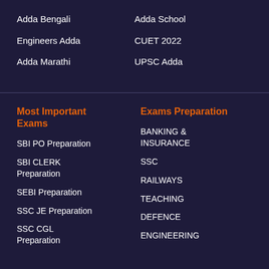Adda Bengali
Adda School
Engineers Adda
CUET 2022
Adda Marathi
UPSC Adda
Most Important Exams
Exams Preparation
SBI PO Preparation
BANKING & INSURANCE
SBI CLERK Preparation
SSC
SEBI Preparation
RAILWAYS
SSC JE Preparation
TEACHING
SSC CGL Preparation
DEFENCE
ENGINEERING